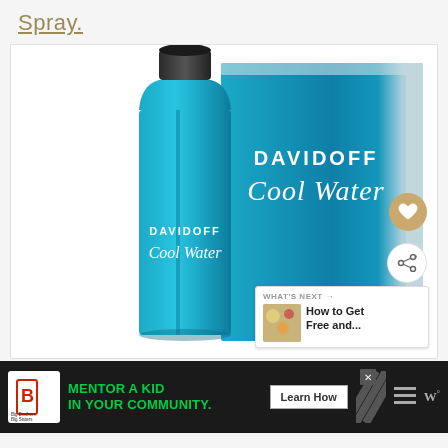Spray.
[Figure (photo): Davidoff Cool Water perfume bottle (teal/blue glass bottle with black cap) next to its blue metallic box with DAVIDOFF Cool Water branding in white text. Heart (favorite) and share action buttons visible on the right side.]
[Figure (infographic): What's Next widget showing a thumbnail of food items and text 'How to Get Free and...']
[Figure (infographic): Advertisement banner: Big Brothers Big Sisters logo, green text 'MENTOR A KID IN YOUR COMMUNITY.' with 'Learn How' button, diagonal stripes graphic, and other icons on black background.]